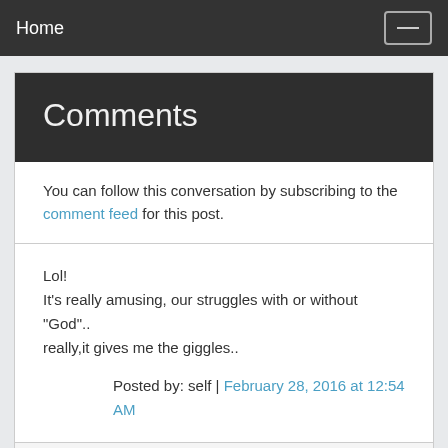Home
Comments
You can follow this conversation by subscribing to the comment feed for this post.
Lol!
It's really amusing, our struggles with or without "God".. really,it gives me the giggles..
Posted by: self | February 28, 2016 at 12:54 AM
Neither atheism nor theism is innately "easy" to hold. What's easy is being a non-thinking person who just picks